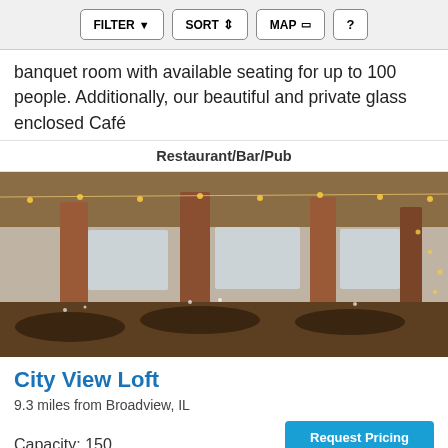FILTER  SORT  MAP  ?
banquet room with available seating for up to 100 people. Additionally, our beautiful and private glass enclosed Café
Restaurant/Bar/Pub
[Figure (photo): Interior of City View Loft event venue showing set dinner tables with glassware, dark wooden chairs, string lights hanging from the ceiling, brick columns, and large windows with a city view.]
City View Loft
9.3 miles from Broadview, IL
Capacity: 150
Request Pricing